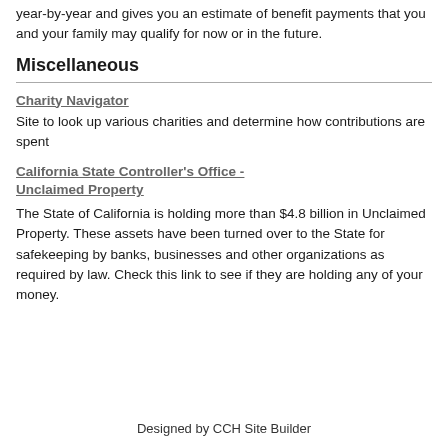year-by-year and gives you an estimate of benefit payments that you and your family may qualify for now or in the future.
Miscellaneous
Charity Navigator
Site to look up various charities and determine how contributions are spent
California State Controller's Office - Unclaimed Property
The State of California is holding more than $4.8 billion in Unclaimed Property. These assets have been turned over to the State for safekeeping by banks, businesses and other organizations as required by law. Check this link to see if they are holding any of your money.
Designed by CCH Site Builder